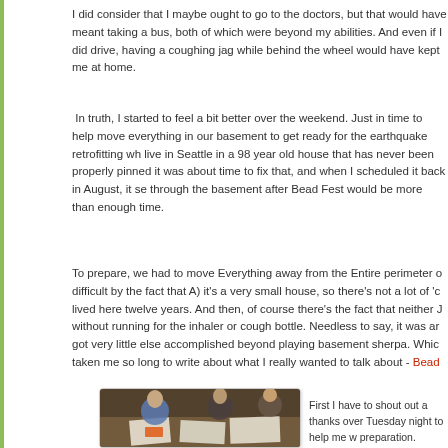I did consider that I maybe ought to go to the doctors, but that would have meant taking a bus, both of which were beyond my abilities. And even if I did drive, having a coughing jag while behind the wheel would have kept me at home.
In truth, I started to feel a bit better over the weekend. Just in time to help move everything in our basement to get ready for the earthquake retrofitting which is on. We live in Seattle in a 98 year old house that has never been properly pinned, so I thought it was about time to fix that, and when I scheduled it back in August, it seemed like getting through the basement after Bead Fest would be more than enough time.
To prepare, we had to move Everything away from the Entire perimeter of the basement, made difficult by the fact that A) it's a very small house, so there's not a lot of 'c' space, and B) we've lived here twelve years. And then, of course there's the fact that neither J nor I could do anything without running for the inhaler or cough bottle. Needless to say, it was an exhausting weekend. We got very little else accomplished beyond playing basement sherpa. Which is exactly why it's taken me so long to write about what I really wanted to talk about - Bead
[Figure (photo): People sitting around a table working on what appears to be crafts or beading projects]
First I have to shout out a thanks over Tuesday night to help me w preparation. Despite weeks of a the wire. My printer had been ru previous Friday (it's a little slow). batch of needles, cut kit covers,